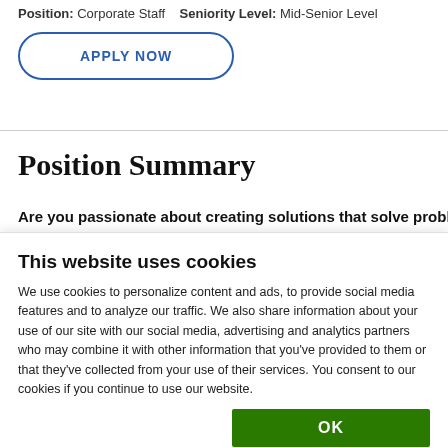Position: Corporate Staff   Seniority Level: Mid-Senior Level
[Figure (other): APPLY NOW button with rounded rectangle border in blue]
Position Summary
Are you passionate about creating solutions that solve problems
This website uses cookies
We use cookies to personalize content and ads, to provide social media features and to analyze our traffic. We also share information about your use of our site with our social media, advertising and analytics partners who may combine it with other information that you've provided to them or that they've collected from your use of their services. You consent to our cookies if you continue to use our website.
OK
Necessary   Preferences   Statistics   Show